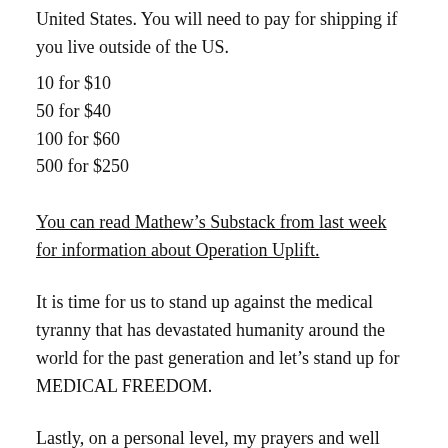United States. You will need to pay for shipping if you live outside of the US.
10 for $10
50 for $40
100 for $60
500 for $250
You can read Mathew’s Substack from last week for information about Operation Uplift.
It is time for us to stand up against the medical tyranny that has devastated humanity around the world for the past generation and let’s stand up for MEDICAL FREEDOM.
Lastly, on a personal level, my prayers and well wishes go out to my brother-in-law and two friends, who have contracted Covid. My sister and her children are doing